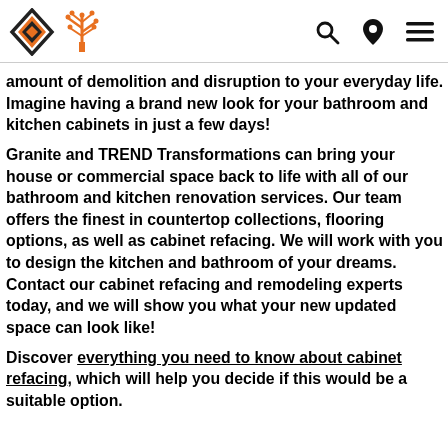[Logo: Granite and TREND Transformations] [Search icon] [Location icon] [Menu icon]
amount of demolition and disruption to your everyday life. Imagine having a brand new look for your bathroom and kitchen cabinets in just a few days!
Granite and TREND Transformations can bring your house or commercial space back to life with all of our bathroom and kitchen renovation services. Our team offers the finest in countertop collections, flooring options, as well as cabinet refacing. We will work with you to design the kitchen and bathroom of your dreams. Contact our cabinet refacing and remodeling experts today, and we will show you what your new updated space can look like!
Discover everything you need to know about cabinet refacing, which will help you decide if this would be a suitable option.